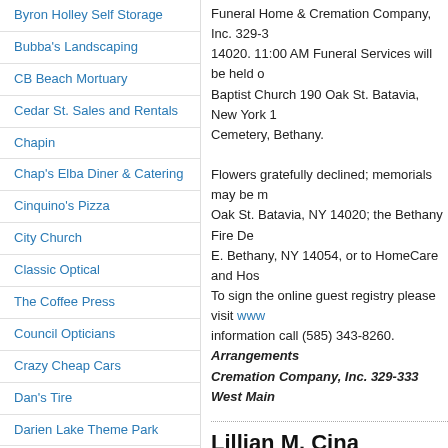Byron Holley Self Storage
Bubba's Landscaping
CB Beach Mortuary
Cedar St. Sales and Rentals
Chapin
Chap's Elba Diner & Catering
Cinquino's Pizza
City Church
Classic Optical
The Coffee Press
Council Opticians
Crazy Cheap Cars
Dan's Tire
Darien Lake Theme Park
D&R Depot Restaurant
Dave's Ice Cream
Deep Blue Pool & Spa
Dolce Panepinto Attorneys At
Funeral Home & Cremation Company, Inc. 329-3... 14020. 11:00 AM Funeral Services will be held o... Baptist Church 190 Oak St. Batavia, New York 1... Cemetery, Bethany. Flowers gratefully declined; memorials may be m... Oak St. Batavia, NY 14020; the Bethany Fire De... E. Bethany, NY 14054, or to HomeCare and Hos... To sign the online guest registry please visit www... information call (585) 343-8260. Arrangements... Cremation Company, Inc. 329-333 West Main...
Lillian M. Cina
[Figure (photo): Portrait photo of Lillian M. Cina]
Lillian M. Ci... 2013 at the... born Janua... (Mary Maro... City of Bata... Rochester B... employed f... Assistant a... her retireme...